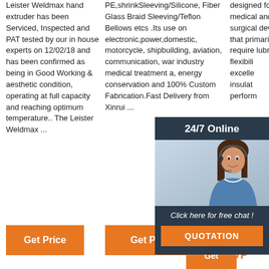Leister Weldmax hand extruder has been Serviced, Inspected and PAT tested by our in house experts on 12/02/18 and has been confirmed as being in Good Working & aesthetic condition, operating at full capacity and reaching optimum temperature.. The Leister Weldmax ...
PE,shrinkSleeving/Silicone, Fiber Glass Braid Sleeving/Teflon Bellows etcs .Its use on electronic,power,domestic, motorcycle, shipbuilding, aviation, communication, war industry medical treatment a, energy conservation and 100% Custom Fabrication.Fast Delivery from Xinrui ...
designed for use on medical and surgical devices that primarily require lubricity, flexibility, excellent insulation performance
[Figure (infographic): 24/7 Online chat widget with woman wearing headset, 'Click here for free chat!' text and QUOTATION button]
Get
[Figure (logo): TOP arrow/dot icon in orange with TOP text]
Get Price
Get Price